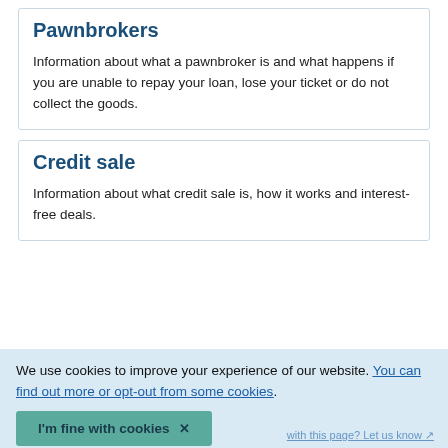Pawnbrokers
Information about what a pawnbroker is and what happens if you are unable to repay your loan, lose your ticket or do not collect the goods.
Credit sale
Information about what credit sale is, how it works and interest-free deals.
We use cookies to improve your experience of our website. You can find out more or opt-out from some cookies.